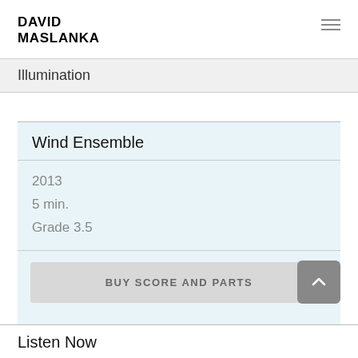DAVID MASLANKA
Illumination
Wind Ensemble
2013
5 min.
Grade 3.5
BUY SCORE AND PARTS
Listen Now